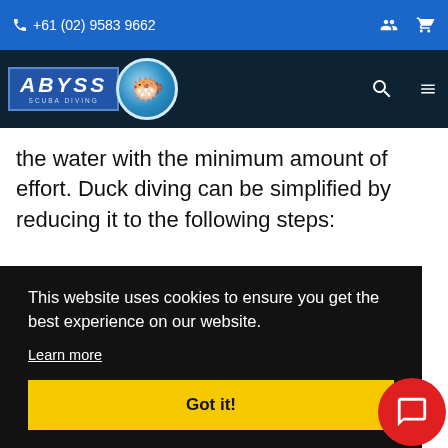+61 (02) 9583 9662
[Figure (logo): Abyss Scuba Diving logo with blue box and fish mascot]
the water with the minimum amount of effort. Duck diving can be simplified by reducing it to the following steps:
This website uses cookies to ensure you get the best experience on our website.
Learn more
Got it!